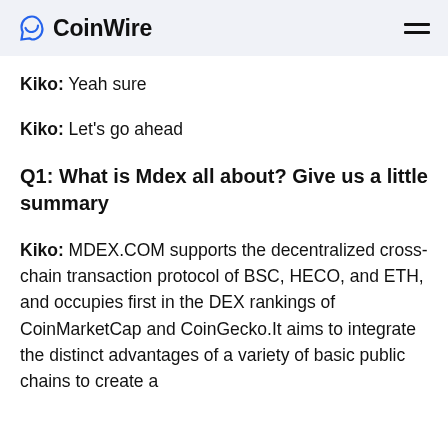CoinWire
Kiko: Yeah sure
Kiko: Let's go ahead
Q1: What is Mdex all about? Give us a little summary
Kiko: MDEX.COM supports the decentralized cross-chain transaction protocol of BSC, HECO, and ETH, and occupies first in the DEX rankings of CoinMarketCap and CoinGecko.It aims to integrate the distinct advantages of a variety of basic public chains to create a